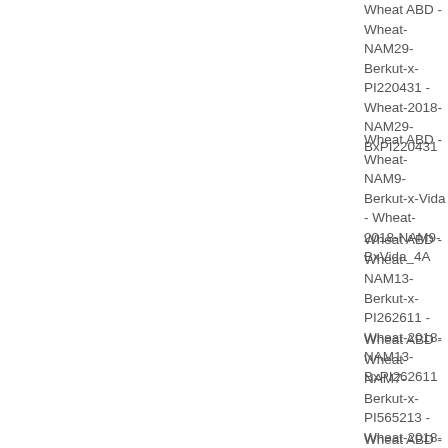Wheat ABD - Wheat-NAM29-Berkut-x-PI220431 - Wheat-2018-NAM29-BxPI220431
Wheat ABD - Wheat-NAM9-Berkut-x-Vida - Wheat-2018-NAM9-BxVida_4A
Wheat ABD - Wheat-NAM13-Berkut-x-PI262611 - Wheat-2018-NAM13-BxPI262611
Wheat ABD - Wheat-NAM7-Berkut-x-PI565213 - Wheat-2018-NAM7-BxPI565213_4A
Wheat ABD - Wheat-NAM6-Berkut-x-PI470817 - Wheat-2018-NAM6-BxPI470817_4A
Wheat ABD - Wheat-NAM14-Berkut-x-PI70613 - Wheat-2018-NAM14-BxPI70613_4A
Wheat ABD - Wheat-NAM6-Berkut-x-PI470817 - Wheat-2018-NAM6-...